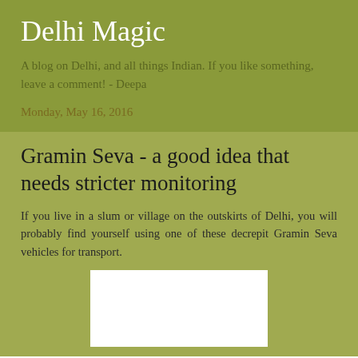Delhi Magic
A blog on Delhi, and all things Indian. If you like something, leave a comment! - Deepa
Monday, May 16, 2016
Gramin Seva - a good idea that needs stricter monitoring
If you live in a slum or village on the outskirts of Delhi, you will probably find yourself using one of these decrepit Gramin Seva vehicles for transport.
[Figure (photo): White image placeholder for a photo of a Gramin Seva vehicle]